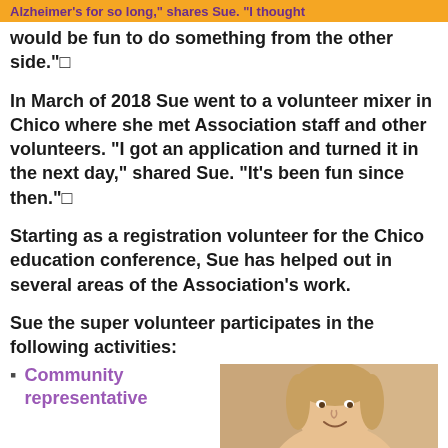Alzheimer's for so long," shares Sue. "I thought would be fun to do something from the other side."
In March of 2018 Sue went to a volunteer mixer in Chico where she met Association staff and other volunteers. “I got an application and turned it in the next day,” shared Sue. “It’s been fun since then.”
Starting as a registration volunteer for the Chico education conference, Sue has helped out in several areas of the Association’s work.
Sue the super volunteer participates in the following activities:
Community representative
[Figure (photo): Photo of a smiling woman, cropped to show face and upper body against a warm-toned background.]